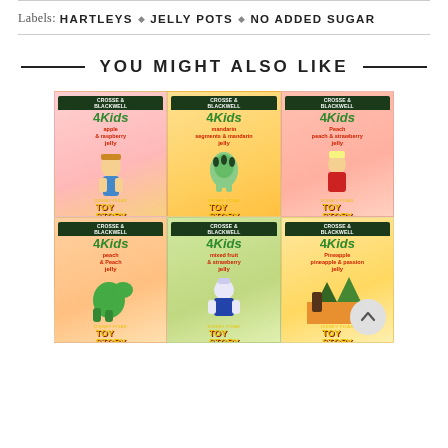Labels: HARTLEYS ◇ JELLY POTS ◇ NO ADDED SUGAR
YOU MIGHT ALSO LIKE
[Figure (photo): Six Crosse & Blackwell 4Kids Toy Story themed jelly pots in two rows of three. Top row: apple & raspberry jelly (Woody), mandarin jelly (Alien), peach & strawberry jelly (Jessie). Bottom row: peach jelly (Rex), mixed fruit & strawberry jelly (Buzz Lightyear), pineapple & passion jelly (background). Spoon inside each pack.]